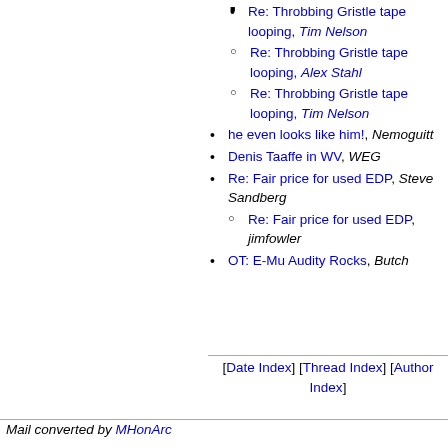Re: Throbbing Gristle tape looping, Tim Nelson
Re: Throbbing Gristle tape looping, Alex Stahl
Re: Throbbing Gristle tape looping, Tim Nelson
he even looks like him!, Nemoguitt
Denis Taaffe in WV, WEG
Re: Fair price for used EDP, Steve Sandberg
Re: Fair price for used EDP, jimfowler
OT: E-Mu Audity Rocks, Butch
[Date Index] [Thread Index] [Author Index]
Mail converted by MHonArc